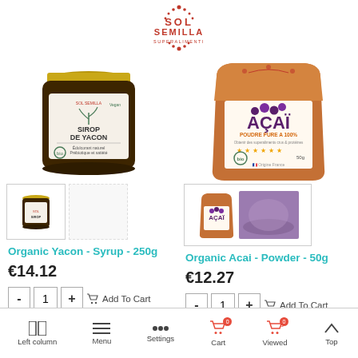Sol Semilla Superalimenti
[Figure (photo): Sol Semilla logo with decorative floral/seed pattern]
[Figure (photo): Organic Yacon Syrup 250g product jar with Sol Semilla label]
[Figure (photo): Organic Acai Powder 50g product bag]
[Figure (photo): Thumbnail of Yacon Syrup jar]
[Figure (photo): Thumbnails of Acai product bag and purple powder]
Organic Yacon - Syrup - 250g
Organic Acai - Powder - 50g
€14.12
€12.27
Left column  Menu  Settings  Cart 0  Viewed 0  Top